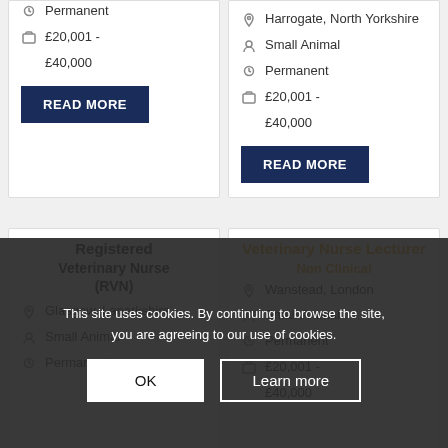Permanent
£20,001 - £40,000
READ MORE
Harrogate, North Yorkshire
Small Animal
Permanent
£20,001 - £40,000
READ MORE
Registered Veterinary Nurse (RVN)
Glasgow, Lanarkshire
Small Animal
Permanent
Veterinary Nurse Lecturer
Non Clinical
Wanstead, London
Small Animal
Permanent
£20,001 - £40,000
This site uses cookies. By continuing to browse the site, you are agreeing to our use of cookies.
OK
Learn more